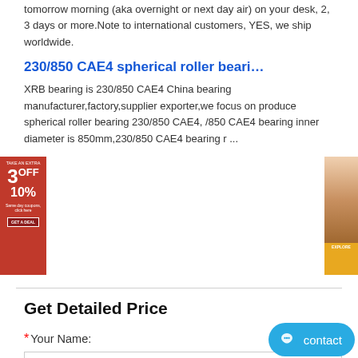tomorrow morning (aka overnight or next day air) on your desk, 2, 3 days or more.Note to international customers, YES, we ship worldwide.
230/850 CAE4 spherical roller beari...
XRB bearing is 230/850 CAE4 China bearing manufacturer,factory,supplier exporter,we focus on produce spherical roller bearing 230/850 CAE4, /850 CAE4 bearing inner diameter is 850mm,230/850 CAE4 bearing r ...
[Figure (screenshot): Two advertisement banners overlaying the search result snippet: left side shows a red coupon ad with '3 OFF 10%' text, right side shows a product/person photo ad.]
Get Detailed Price
* Your Name:
Please enter your name
* E-Mail Address:
Please enter your e-mail
Country: